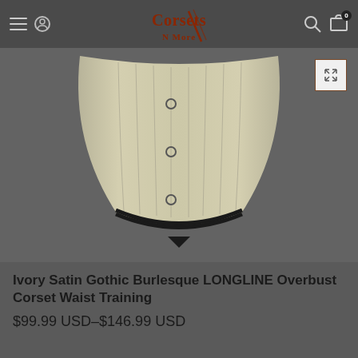Corsets N More — navigation header with hamburger menu, logo, search, and cart icons
[Figure (photo): Bottom portion of an ivory satin gothic burlesque longline overbust corset displayed against a dark gray background, showing the boning structure and black trim along the bottom edge.]
Ivory Satin Gothic Burlesque LONGLINE Overbust Corset Waist Training
$99.99 USD–$146.99 USD